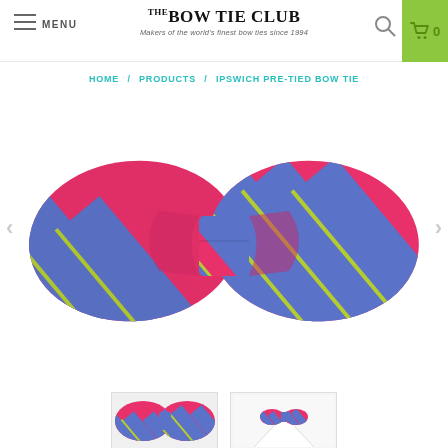MENU | THE BOW TIE CLUB - Makers of the world's finest bow ties since 1994 | Search | Cart 0
HOME / PRODUCTS / IPSWICH PRE-TIED BOW TIE
[Figure (photo): A pink and blue striped pre-tied bow tie with yellow-green accent stripes, shown on white background. The bow tie has a classic pre-tied shape with a central knot piece.]
[Figure (photo): Two thumbnail images of the Ipswich pre-tied bow tie at the bottom of the page.]